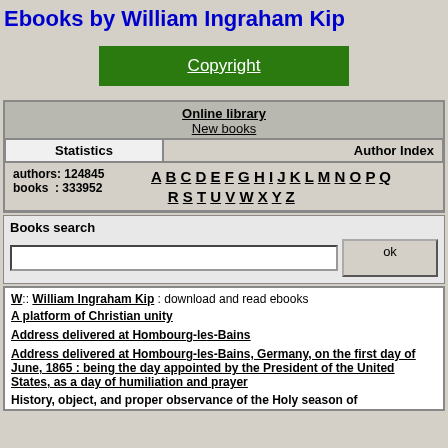Ebooks by William Ingraham Kip
[Figure (other): Green Copyright button]
| Online library |  |
| New books |  |
| Statistics | Author Index |
| authors: 124845  A B C D E F G H I J K L M N O P Q |  |
| books  : 333952  R S T U V W X Y Z |  |
Books search
W:: William Ingraham Kip : download and read ebooks
A platform of Christian unity
Address delivered at Hombourg-les-Bains
Address delivered at Hombourg-les-Bains, Germany, on the first day of June, 1865 : being the day appointed by the President of the United States, as a day of humiliation and prayer
History, object, and proper observance of the Holy season of